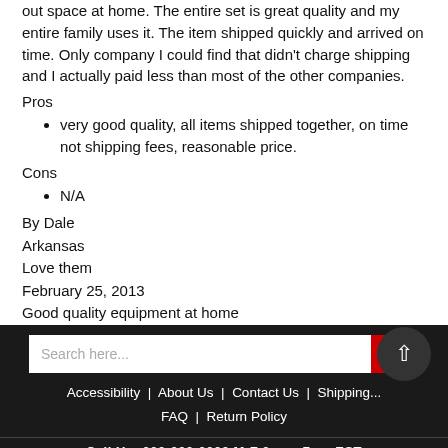out space at home. The entire set is great quality and my entire family uses it. The item shipped quickly and arrived on time. Only company I could find that didn't charge shipping and I actually paid less than most of the other companies.
Pros
very good quality, all items shipped together, on time not shipping fees, reasonable price.
Cons
N/A
By Dale
Arkansas
Love them
February 25, 2013
Good quality equipment at home
Accessibility | About Us | Contact Us | Shipping... | FAQ | Return Policy